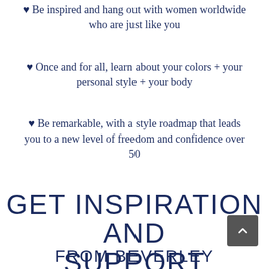♥ Be inspired and hang out with women worldwide who are just like you
♥ Once and for all, learn about your colors + your personal style + your body
♥ Be remarkable, with a style roadmap that leads you to a new level of freedom and confidence over 50
GET INSPIRATION AND SUPPORT
FROM BEVERLEY